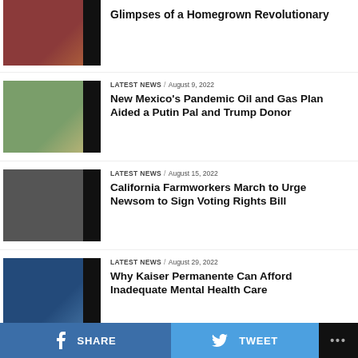[Figure (photo): Partial article image at top - portrait with red tones]
Glimpses of a Homegrown Revolutionary
[Figure (photo): Oil pump jack in a green field, New Mexico]
LATEST NEWS / August 9, 2022
New Mexico's Pandemic Oil and Gas Plan Aided a Putin Pal and Trump Donor
[Figure (photo): Black and white photo of farmworkers]
LATEST NEWS / August 15, 2022
California Farmworkers March to Urge Newsom to Sign Voting Rights Bill
[Figure (photo): Blue-tinted glass building exterior]
LATEST NEWS / August 29, 2022
Why Kaiser Permanente Can Afford Inadequate Mental Health Care
[Figure (photo): Sky with clouds, blue tones]
THE SLICK / August 12, 2022
Pennsylvania Legislators Stall Emissions Regulation
SHARE   TWEET   ...